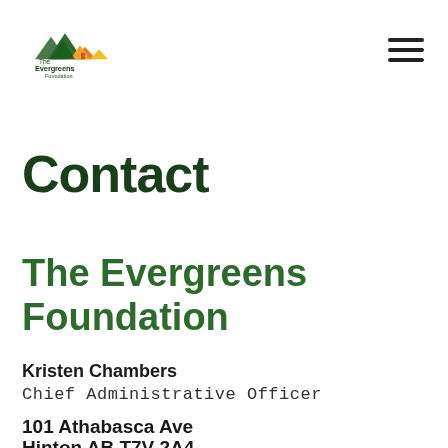[Figure (logo): The Evergreens Foundation logo with stylized mountain/house icons and organization name]
Contact
The Evergreens Foundation
Kristen Chambers
Chief Administrative Officer
101 Athabasca Ave
Hinton AB T7V 2A4